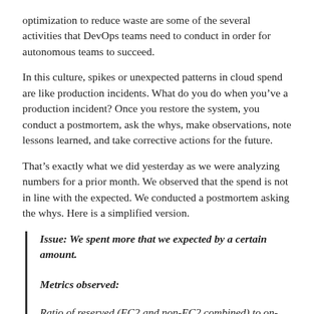optimization to reduce waste are some of the several activities that DevOps teams need to conduct in order for autonomous teams to succeed.
In this culture, spikes or unexpected patterns in cloud spend are like production incidents. What do you do when you’ve a production incident? Once you restore the system, you conduct a postmortem, ask the whys, make observations, note lessons learned, and take corrective actions for the future.
That’s exactly what we did yesterday as we were analyzing numbers for a prior month. We observed that the spend is not in line with the expected. We conducted a postmortem asking the whys. Here is a simplified version.
Issue: We spent more that we expected by a certain amount.
Metrics observed:
Ratio of reserved (EC2 and non-EC2 combined) to on-demand instances: Fall from 71% to 64%.